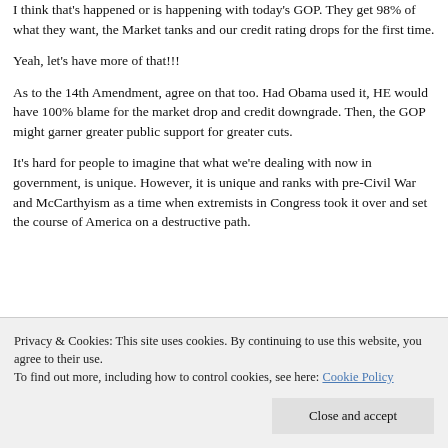I think that's happened or is happening with today's GOP. They get 98% of what they want, the Market tanks and our credit rating drops for the first time.
Yeah, let's have more of that!!!
As to the 14th Amendment, agree on that too. Had Obama used it, HE would have 100% blame for the market drop and credit downgrade. Then, the GOP might garner greater public support for greater cuts.
It's hard for people to imagine that what we're dealing with now in government, is unique. However, it is unique and ranks with pre-Civil War and McCarthyism as a time when extremists in Congress took it over and set the course of America on a destructive path.
Privacy & Cookies: This site uses cookies. By continuing to use this website, you agree to their use.
To find out more, including how to control cookies, see here: Cookie Policy
Close and accept